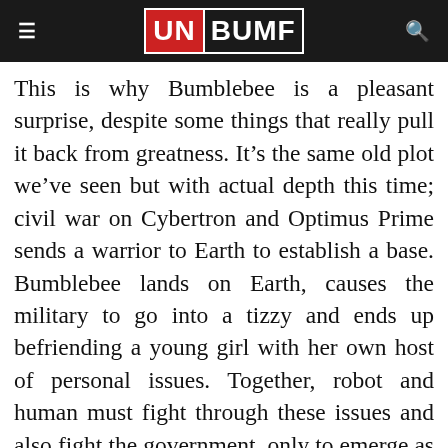UNBUMF
This is why Bumblebee is a pleasant surprise, despite some things that really pull it back from greatness. It’s the same old plot we’ve seen but with actual depth this time; civil war on Cybertron and Optimus Prime sends a warrior to Earth to establish a base. Bumblebee lands on Earth, causes the military to go into a tizzy and ends up befriending a young girl with her own host of personal issues. Together, robot and human must fight through these issues and also fight the government, only to emerge as better beings in the end and please don’t act like that’s a spoiler.